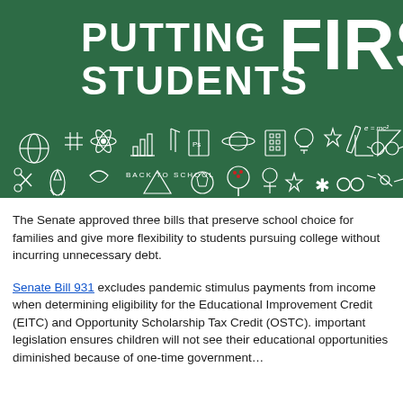[Figure (illustration): Green chalkboard banner with white bold text reading 'PUTTING STUDENTS FIRST' and chalk-drawn educational doodles including globe, atom, bar chart, books, lightbulb, pencil, soccer ball, tree, rocket, ruler, and other school-related icons. Also reads 'BACK TO SCHOOL' in the doodles.]
The Senate approved three bills that preserve school choice for families and give more flexibility to students pursuing college without incurring unnecessary debt.
Senate Bill 931 excludes pandemic stimulus payments from income when determining eligibility for the Educational Improvement Credit (EITC) and Opportunity Scholarship Tax Credit (OSTC). This important legislation ensures children will not see their educational opportunities diminished because of one-time government...